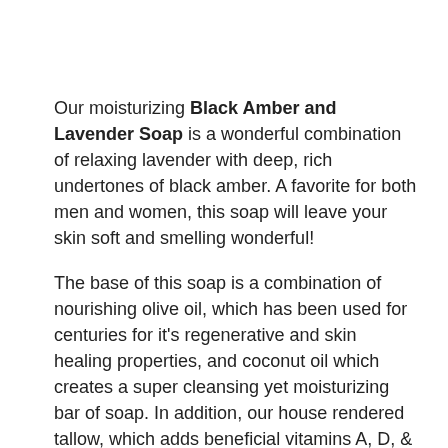Our moisturizing Black Amber and Lavender Soap is a wonderful combination of relaxing lavender with deep, rich undertones of black amber. A favorite for both men and women, this soap will leave your skin soft and smelling wonderful!
The base of this soap is a combination of nourishing olive oil, which has been used for centuries for it's regenerative and skin healing properties, and coconut oil which creates a super cleansing yet moisturizing bar of soap. In addition, our house rendered tallow, which adds beneficial vitamins A, D, & K and mimics the natural sebum found in our own skin, creates an exceptionally hard, long lasting bar of soap. Avocado oil is a heavy rich oil, high in vitamins A, D, & E and contains a high concentration of unsaponifiables (the components in the oil that don't react with sodium hydroxide to form soap) and therefore remain in the final product to provide extra benefits for your skin. Brown illite clay helps draw impurities from the skin and  unrefined shea butter adds deeply penetrating,